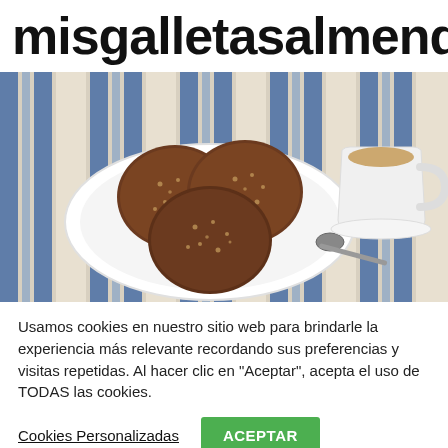misgalletasalmend
[Figure (photo): Photo of brown round cookies on a white plate with a cup of tea/coffee and a spoon, on a striped blue and white tablecloth]
Usamos cookies en nuestro sitio web para brindarle la experiencia más relevante recordando sus preferencias y visitas repetidas. Al hacer clic en "Aceptar", acepta el uso de TODAS las cookies.
Cookies Personalizadas
ACEPTAR